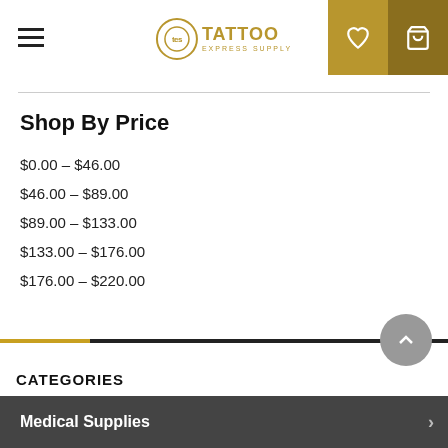[Figure (logo): Tattoo Express Supply logo with circular emblem and brand name in gold]
Shop By Price
$0.00 - $46.00
$46.00 - $89.00
$89.00 - $133.00
$133.00 - $176.00
$176.00 - $220.00
CATEGORIES
Medical Supplies